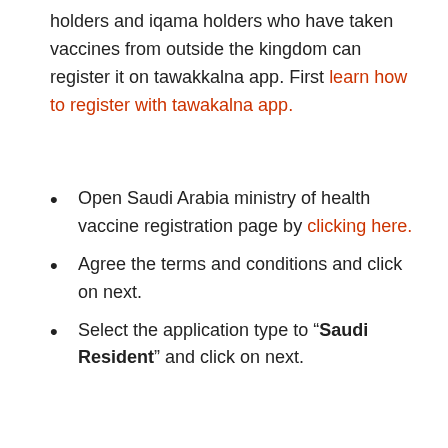holders and iqama holders who have taken vaccines from outside the kingdom can register it on tawakkalna app. First learn how to register with tawakalna app.
Open Saudi Arabia ministry of health vaccine registration page by clicking here.
Agree the terms and conditions and click on next.
Select the application type to “Saudi Resident” and click on next.